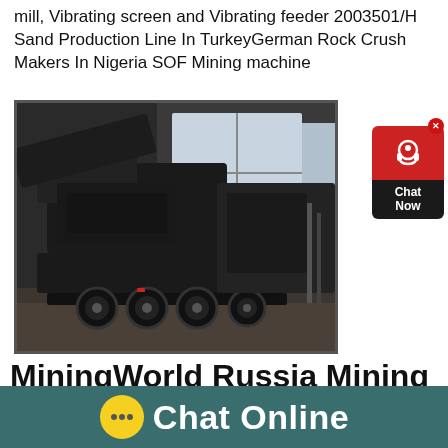mill, Vibrating screen and Vibrating feeder 2003501/H Sand Production Line In TurkeyGerman Rock Crush Makers In Nigeria SOF Mining machine
[Figure (photo): Large mobile crushing/screening machine on a trailer inside an industrial warehouse. Dark colored heavy equipment with multiple axles.]
[Figure (other): Chat Now widget button (red with chat icon)]
MiningWorld Russia Mining machinery & equipment
Chat Online